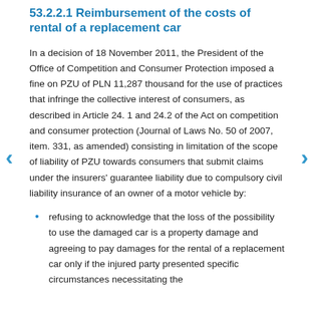53.2.2.1 Reimbursement of the costs of rental of a replacement car
In a decision of 18 November 2011, the President of the Office of Competition and Consumer Protection imposed a fine on PZU of PLN 11,287 thousand for the use of practices that infringe the collective interest of consumers, as described in Article 24. 1 and 24.2 of the Act on competition and consumer protection (Journal of Laws No. 50 of 2007, item. 331, as amended) consisting in limitation of the scope of liability of PZU towards consumers that submit claims under the insurers' guarantee liability due to compulsory civil liability insurance of an owner of a motor vehicle by:
refusing to acknowledge that the loss of the possibility to use the damaged car is a property damage and agreeing to pay damages for the rental of a replacement car only if the injured party presented specific circumstances necessitating the